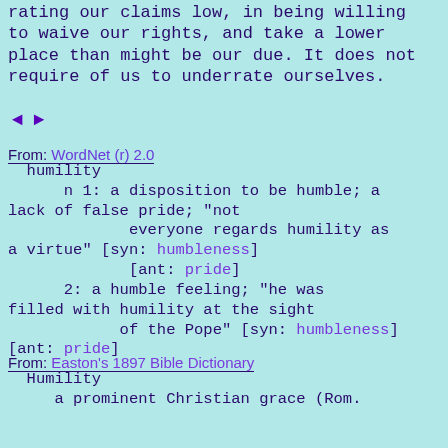rating our claims low, in being willing to waive our rights, and take a lower place than might be our due. It does not require of us to underrate ourselves.
◄ ►
From: WordNet (r) 2.0
humility
      n 1: a disposition to be humble; a lack of false pride; "not
              everyone regards humility as a virtue" [syn: humbleness]
              [ant: pride]
      2: a humble feeling; "he was filled with humility at the sight
              of the Pope" [syn: humbleness]
[ant: pride]
From: Easton's 1897 Bible Dictionary
Humility
    a prominent Christian grace (Rom.